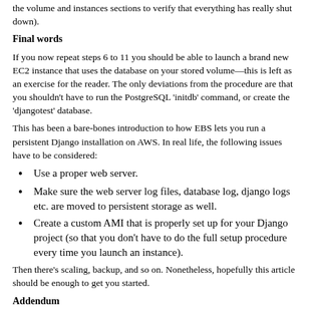the volume and instances sections to verify that everything has really shut down).
Final words
If you now repeat steps 6 to 11 you should be able to launch a brand new EC2 instance that uses the database on your stored volume—this is left as an exercise for the reader. The only deviations from the procedure are that you shouldn't have to run the PostgreSQL 'initdb' command, or create the 'djangotest' database.
This has been a bare-bones introduction to how EBS lets you run a persistent Django installation on AWS. In real life, the following issues have to be considered:
Use a proper web server.
Make sure the web server log files, database log, django logs etc. are moved to persistent storage as well.
Create a custom AMI that is properly set up for your Django project (so that you don't have to do the full setup procedure every time you launch an instance).
Then there's scaling, backup, and so on. Nonetheless, hopefully this article should be enough to get you started.
Addendum
A reader pointed out that the PostgreSQL user home directory should also be changed. While I haven't tried this myself, the correct procedure is probably to do a usermod -d /vol/pgsql postgres as root.